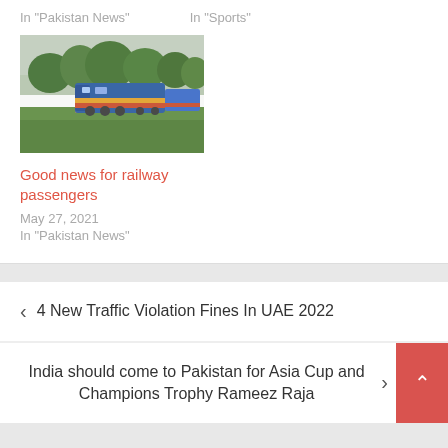In "Pakistan News"
In "Sports"
[Figure (photo): A blue train locomotive traveling through lush green countryside with trees in background]
Good news for railway passengers
May 27, 2021
In "Pakistan News"
< 4 New Traffic Violation Fines In UAE 2022
India should come to Pakistan for Asia Cup and Champions Trophy Rameez Raja >